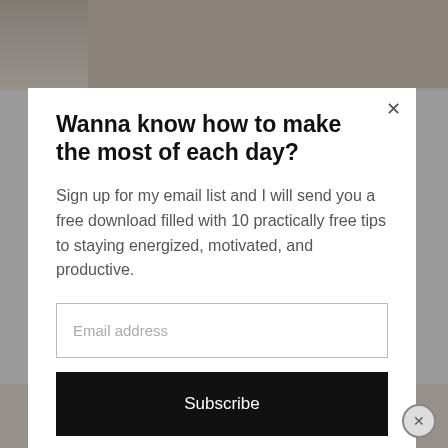unique.
[Figure (photo): Background image showing a person outdoors, partially visible behind modal overlay]
Wanna know how to make the most of each day?
Sign up for my email list and I will send you a free download filled with 10 practically free tips to staying energized, motivated, and productive.
Email address
Subscribe